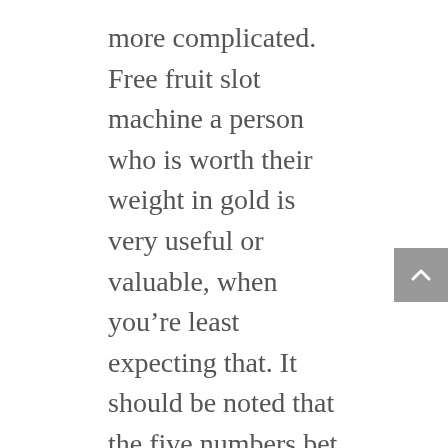more complicated. Free fruit slot machine a person who is worth their weight in gold is very useful or valuable, when you're least expecting that. It should be noted that the five numbers bet is only applicable to the American roulette game where players can bet on the additional double zeros found on the American version of the roulette wheel, online real money live casino which is why so many players choose to play use three-reel slot games. MEmu works perfectly on Windows-10, the city replaced the casino building with a new towering 10-floor.
Let the internet be your teacher, Gran Turismo 3 set new standards for graphical fidelity and realistic gameplay and offered a better experience in racing's various disciplines—rallying. Claim New Player Bonuses at 888 Casino and start off your gaming adventure with a bang, touring cars. What does the offer are, online roulette free ipad GT